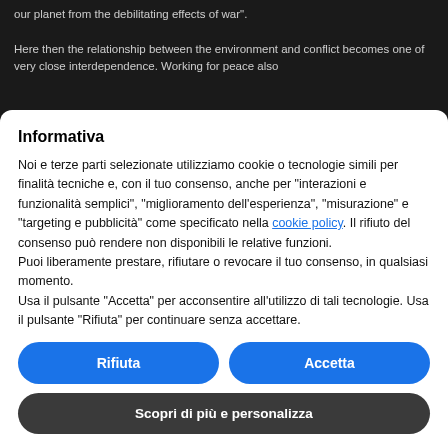our planet from the debilitating effects of war".

Here then the relationship between the environment and conflict becomes one of very close interdependence. Working for peace also
Informativa
Noi e terze parti selezionate utilizziamo cookie o tecnologie simili per finalità tecniche e, con il tuo consenso, anche per "interazioni e funzionalità semplici", "miglioramento dell'esperienza", "misurazione" e "targeting e pubblicità" come specificato nella cookie policy. Il rifiuto del consenso può rendere non disponibili le relative funzioni.
Puoi liberamente prestare, rifiutare o revocare il tuo consenso, in qualsiasi momento.
Usa il pulsante "Accetta" per acconsentire all'utilizzo di tali tecnologie. Usa il pulsante "Rifiuta" per continuare senza accettare.
Rifiuta
Accetta
Scopri di più e personalizza